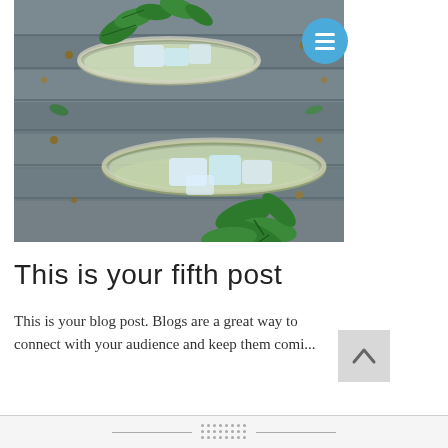[Figure (photo): Overhead view of two cocktail glasses with ice and fresh mint leaves on a wooden plank background, scattered with seeds and herbs]
This is your fifth post
This is your blog post. Blogs are a great way to connect with your audience and keep them comi...